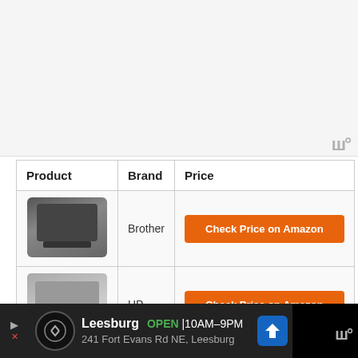[Figure (other): Light gray blank/advertisement area at top of page]
| Product | Brand | Price |
| --- | --- | --- |
| [Brother printer image] | Brother | Check Price on Amazon |
| [HP printer image] | HP | Check Price on Amazon |
| [HP white printer image] | HP | Check Price on Amazon |
[Figure (other): Bottom ad bar: Leesburg OPEN 10AM-9PM, 241 Fort Evans Rd NE, Leesburg]